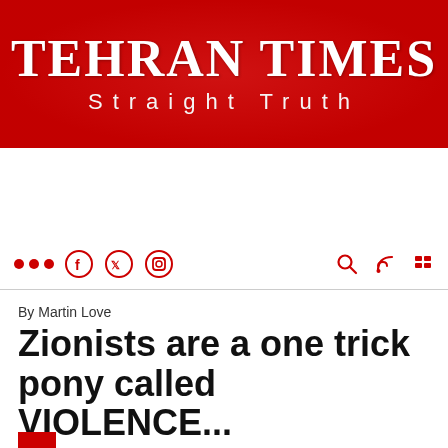[Figure (logo): Tehran Times newspaper logo with red background, white bold text 'TEHRAN TIMES' and subtitle 'Straight Truth' in spaced letters]
[Figure (infographic): Navigation bar with social media icons (dots, Facebook, Twitter, Instagram) on the left and search, RSS, grid icons on the right, all in red]
By Martin Love
Zionists are a one trick pony called VIOLENCE...
June 9, 2021 - 21:58    Politics